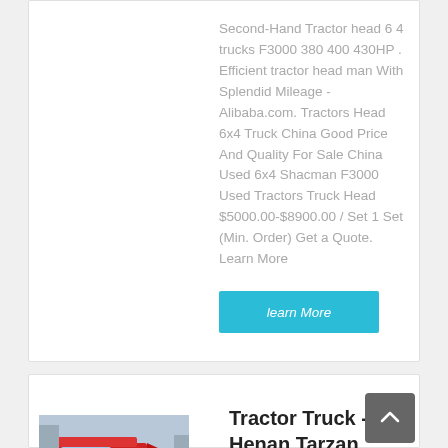Second-Hand Tractor head 6 4 trucks F3000 380 400 430HP . Efficient tractor head man With Splendid Mileage - Alibaba.com. Tractors Head 6x4 Truck China Good Price And Quality For Sale China Used 6x4 Shacman F3000 Used Tractors Truck Head $5000.00-$8900.00 / Set 1 Set (Min. Order) Get a Quote. Learn More
learn More
[Figure (photo): Red tractor truck / semi-truck parked in a lot, front view]
Tractor Truck - Henan Tarzan Industrial Co., Ltd. - page 1